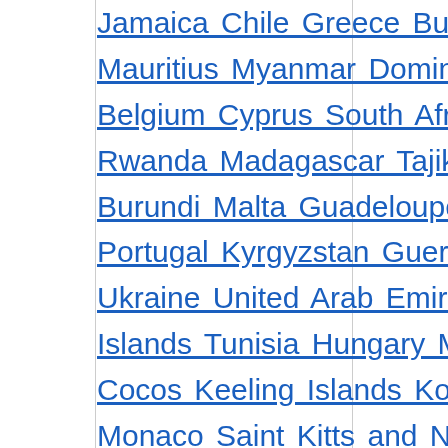Jamaica Chile Greece Bulgaria Angola Mauritius Myanmar Dominica Zambia Belgium Cyprus South Africa Guinea-Bissau Rwanda Madagascar Tajikistan Costa Rica Burundi Malta Guadeloupe Albania Namibia Portugal Kyrgyzstan Guernsey Nicaragua Ukraine United Arab Emirates Gabon Faroe Islands Tunisia Hungary Mauritania Cuba Cocos Keeling Islands Kosovo Latvia Monaco Saint Kitts and Nevis New Zealand Lesotho Honduras Armenia American Samoa Australia Yemen Suriname Laos Macedonia Gibraltar Jordan Nigeria Serbia Timor-Leste Syria Mali Denmark Bangladesh China Vietnam New Caledonia Saint Lucia Botswana Eritrea Réunion Samoa Poland Bahrain Norway Comoros Papua New Guinea Austria Slovenia Cambodia Liberia